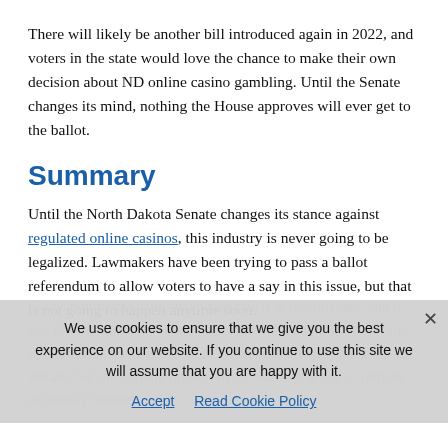There will likely be another bill introduced again in 2022, and voters in the state would love the chance to make their own decision about ND online casino gambling. Until the Senate changes its mind, nothing the House approves will ever get to the ballot.
Summary
Until the North Dakota Senate changes its stance against regulated online casinos, this industry is never going to be legalized. Lawmakers have been trying to pass a ballot referendum to allow voters to have a say in this issue, but that is not going to happen anytime soon.
Sports betting measures have also failed in recent years, and it just doesn't appear as if any new forms of gambling are coming to North Dakota anytime soon. Things can always change in an instant, but the gaming options in the state are going to remain extremely limited.
We use cookies to ensure that we give you the best experience on our website. If you continue to use this site we will assume that you are happy with it.